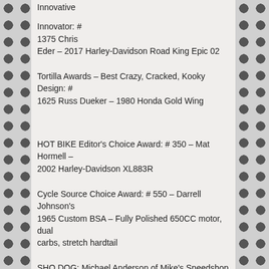Innovative
Innovator: # 1375 Chris Eder – 2017 Harley-Davidson Road King Epic 02
Tortilla Awards – Best Crazy, Cracked, Kooky Design: # 1625 Russ Dueker – 1980 Honda Gold Wing
HOT BIKE Editor's Choice Award: # 350 – Mat Hormell – 2002 Harley-Davidson XL883R
Cycle Source Choice Award: # 550 – Darrell Johnson's 1965 Custom BSA – Fully Polished 650CC motor, dual carbs, stretch hardtail
SHO DOG: Michael Anderson of Mike's Speedshop
K&N AWARD: #125 – Richard Becker, House Of Tandems